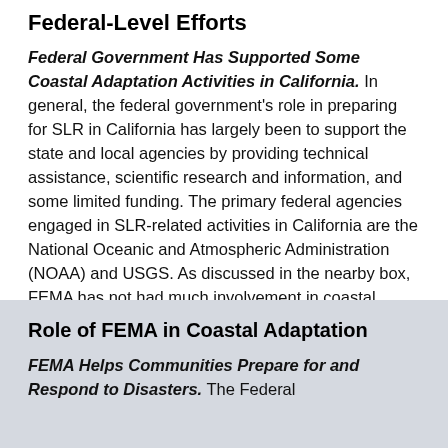Federal-Level Efforts
Federal Government Has Supported Some Coastal Adaptation Activities in California. In general, the federal government's role in preparing for SLR in California has largely been to support the state and local agencies by providing technical assistance, scientific research and information, and some limited funding. The primary federal agencies engaged in SLR-related activities in California are the National Oceanic and Atmospheric Administration (NOAA) and USGS. As discussed in the nearby box, FEMA has not had much involvement in coastal adaptation activities thus far, but likely will play a larger role in the future.
Role of FEMA in Coastal Adaptation
FEMA Helps Communities Prepare for and Respond to Disasters. The Federal